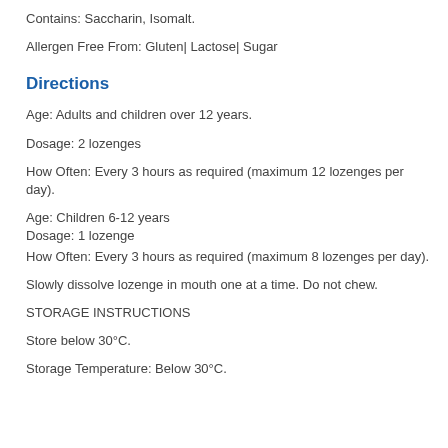Contains: Saccharin, Isomalt.
Allergen Free From: Gluten| Lactose| Sugar
Directions
Age: Adults and children over 12 years.
Dosage: 2 lozenges
How Often: Every 3 hours as required (maximum 12 lozenges per day).
Age: Children 6-12 years
Dosage: 1 lozenge
How Often: Every 3 hours as required (maximum 8 lozenges per day).
Slowly dissolve lozenge in mouth one at a time. Do not chew.
STORAGE INSTRUCTIONS
Store below 30°C.
Storage Temperature: Below 30°C.